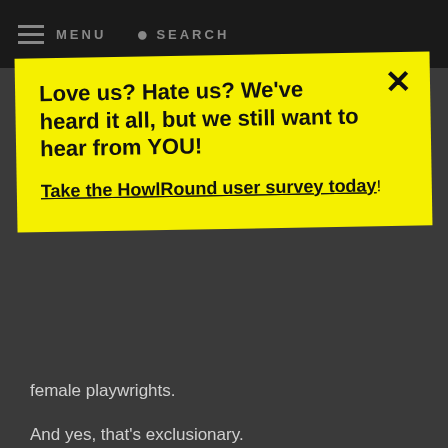MENU  SEARCH
[Figure (infographic): Yellow popup banner with bold black text: 'Love us? Hate us? We've heard it all, but we still want to hear from YOU!' and a link 'Take the HowlRound user survey today!' with a close (x) button.]
female playwrights.
And yes, that's exclusionary.
Log in or Register to post comments
Permalink
JASPER TAYLOR  8 years ago
I know a number of people who